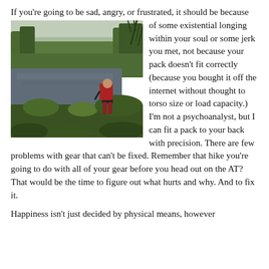If you're going to be sad, angry, or frustrated, it should be because of some existential longing within your soul or some jerk you met, not because your pack doesn't fit correctly (because you bought it off the internet without thought to torso size or load capacity.) I'm not a psychoanalyst, but I can fit a pack to your back with precision. There are few problems with gear that can't be fixed. Remember that hike you're going to do with all of your gear before you head out on the AT? That would be the time to figure out what hurts and why. And to fix it.
[Figure (photo): A hiker with a red backpack standing near a lake surrounded by green forest on a misty day]
Happiness isn't just decided by physical means, however